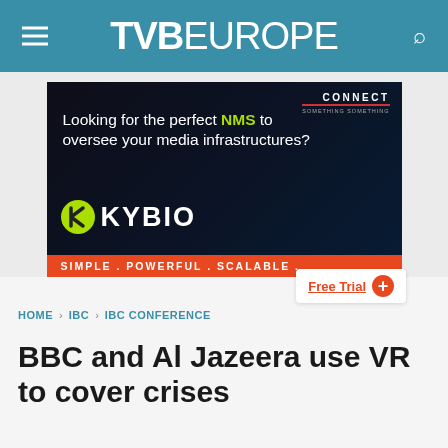TVB EUROPE
[Figure (illustration): Kybio NMS advertisement banner. Dark background with a technician at a broadcast desk. Text reads: CONNECT | Looking for the perfect NMS to oversee your media infrastructures? | KYBIO logo | SIMPLE . POWERFUL . SCALABLE. | Free Trial +]
HOME > IBC > IBC CONFERENCE
BBC and Al Jazeera use VR to cover crises